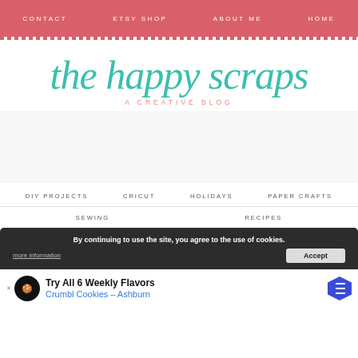CONTACT   ETSY SHOP   ABOUT ME   HOME
the happy scraps
A CREATIVE BLOG
DIY PROJECTS   CRICUT   HOLIDAYS   PAPER CRAFTS
SEWING   RECIPES
By continuing to use the site, you agree to the use of cookies.
more information
Accept
[Figure (infographic): Advertisement for Crumbl Cookies: Try All 6 Weekly Flavors - Crumbl Cookies - Ashburn, with chef logo icon and blue hexagon arrow]